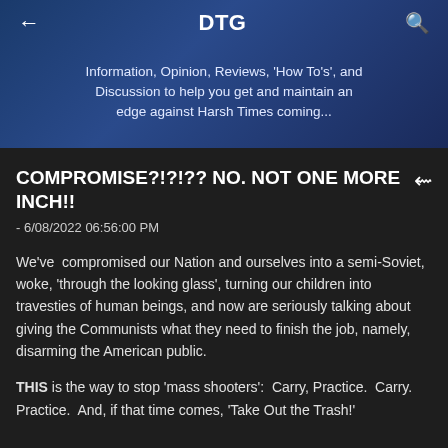DTG
Information, Opinion, Reviews, 'How To's', and Discussion to help you get and maintain an edge against Harsh Times coming...
COMPROMISE?!?!?? NO. NOT ONE MORE INCH!!
- 6/08/2022 06:56:00 PM
We've  compromised our Nation and ourselves into a semi-Soviet, woke, 'through the looking glass', turning our children into travesties of human beings, and now are seriously talking about giving the Communists what they need to finish the job, namely, disarming the American public.
THIS is the way to stop 'mass shooters':  Carry, Practice.  Carry. Practice.  And, if that time comes, 'Take Out the Trash!'